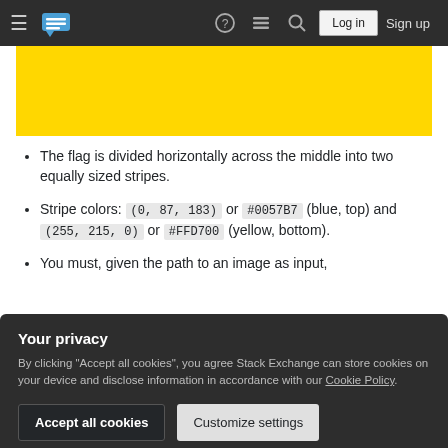Stack Exchange navigation bar with logo, help, chat, search, Log in, Sign up
[Figure (other): Yellow rectangle representing the bottom stripe of a flag (yellow/gold color #FFD700)]
The flag is divided horizontally across the middle into two equally sized stripes.
Stripe colors: (0, 87, 183) or #0057B7 (blue, top) and (255, 215, 0) or #FFD700 (yellow, bottom).
You must, given the path to an image as input,
Your privacy
By clicking "Accept all cookies", you agree Stack Exchange can store cookies on your device and disclose information in accordance with our Cookie Policy.
Accept all cookies   Customize settings
Colors must be exact if possible, otherwise use